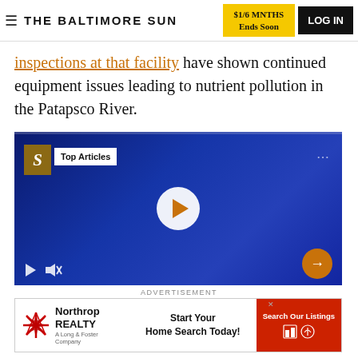THE BALTIMORE SUN | $1/6 MNTHS Ends Soon | LOG IN
inspections at that facility have shown continued equipment issues leading to nutrient pollution in the Patapsco River.
[Figure (screenshot): Embedded video player with 'Top Articles' overlay, play button in center, playback controls at bottom, and a next arrow button. Dark blue background with video paused.]
ADVERTISEMENT
[Figure (other): Northrop Realty advertisement banner: 'Start Your Home Search Today!' with 'Search Our Listings' button in red.]